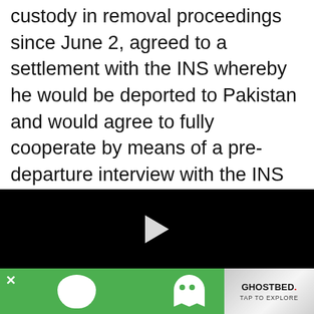custody in removal proceedings since June 2, agreed to a settlement with the INS whereby he would be deported to Pakistan and would agree to fully cooperate by means of a pre-departure interview with the INS and FBI. On May 17, 2002, Sami Osman
[Figure (screenshot): Black video player overlay with a white play button triangle in the center]
[Figure (screenshot): Advertisement bar at bottom: green background with Waze ghost icon and white shape on left, GhostBed advertisement with TAP TO EXPLORE on right with silver metallic page-curl style background]